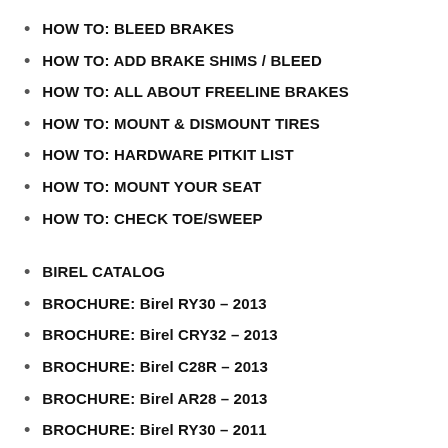HOW TO: BLEED BRAKES
HOW TO: ADD BRAKE SHIMS / BLEED
HOW TO: ALL ABOUT FREELINE BRAKES
HOW TO: MOUNT & DISMOUNT TIRES
HOW TO: HARDWARE PITKIT LIST
HOW TO: MOUNT YOUR SEAT
HOW TO: CHECK TOE/SWEEP
BIREL CATALOG
BROCHURE: Birel RY30 – 2013
BROCHURE: Birel CRY32 – 2013
BROCHURE: Birel C28R – 2013
BROCHURE: Birel AR28 – 2013
BROCHURE: Birel RY30 – 2011
BROCHURE: Birel CRY30 – 2011
BROCHURE: Birel C28 – 2011
BROCHURE: Birel RY28/RY30 – 2010